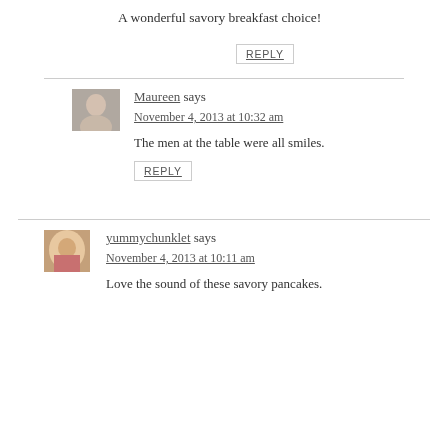A wonderful savory breakfast choice!
REPLY
Maureen says
November 4, 2013 at 10:32 am
The men at the table were all smiles.
REPLY
yummychunklet says
November 4, 2013 at 10:11 am
Love the sound of these savory pancakes.